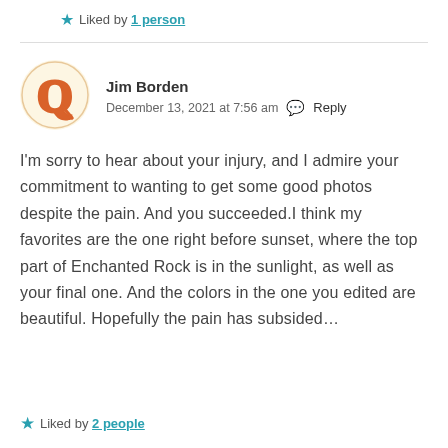Liked by 1 person
Jim Borden
December 13, 2021 at 7:56 am   Reply
[Figure (illustration): Circular avatar logo with an orange letter Q on a cream/yellow background]
I'm sorry to hear about your injury, and I admire your commitment to wanting to get some good photos despite the pain. And you succeeded.I think my favorites are the one right before sunset, where the top part of Enchanted Rock is in the sunlight, as well as your final one. And the colors in the one you edited are beautiful. Hopefully the pain has subsided…
Liked by 2 people